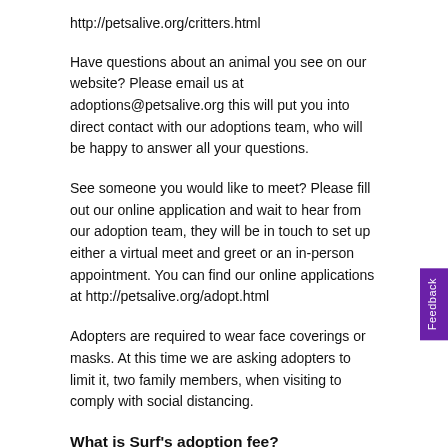http://petsalive.org/critters.html
Have questions about an animal you see on our website? Please email us at adoptions@petsalive.org this will put you into direct contact with our adoptions team, who will be happy to answer all your questions.
See someone you would like to meet? Please fill out our online application and wait to hear from our adoption team, they will be in touch to set up either a virtual meet and greet or an in-person appointment. You can find our online applications at http://petsalive.org/adopt.html
Adopters are required to wear face coverings or masks. At this time we are asking adopters to limit it, two family members, when visiting to comply with social distancing.
What is Surf's adoption fee?
The adoption organization hasn't provided fee details on this pet yet, but you can reach out to them directly for